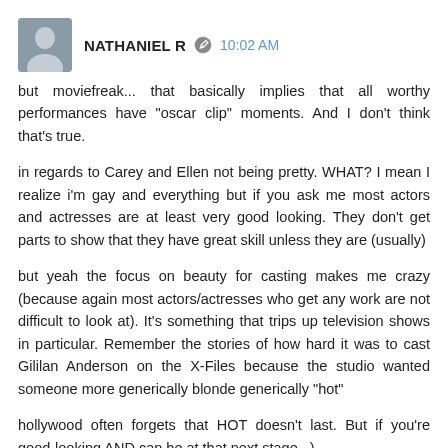NATHANIEL R  10:02 AM
but moviefreak... that basically implies that all worthy performances have "oscar clip" moments. And I don't think that's true.
in regards to Carey and Ellen not being pretty. WHAT? I mean I realize i'm gay and everything but if you ask me most actors and actresses are at least very good looking. They don't get parts to show that they have great skill unless they are (usually)
but yeah the focus on beauty for casting makes me crazy (because again most actors/actresses who get any work are not difficult to look at). It's something that trips up television shows in particular. Remember the stories of how hard it was to cast Gililan Anderson on the X-Files because the studio wanted someone more generically blonde generically "hot"
hollywood often forgets that HOT doesn't last. But if you're good-looking AND can be at that next stage...)